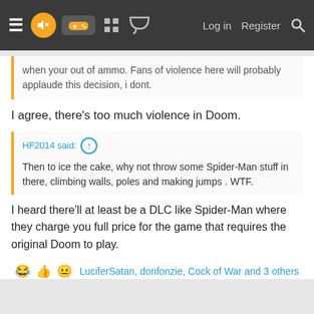Navigation bar with hamburger menu, logo, gamepad icon, grid icon, chat icon, Log in, Register, Search
when your out of ammo. Fans of violence here will probably applaude this decision, i dont.
I agree, there's too much violence in Doom.
HF2014 said: ↑
Then to ice the cake, why not throw some Spider-Man stuff in there, climbing walls, poles and making jumps . WTF.
I heard there'll at least be a DLC like Spider-Man where they charge you full price for the game that requires the original Doom to play.
😂 👍 😐 LuciferSatan, donfonzie, Cock of War and 3 others